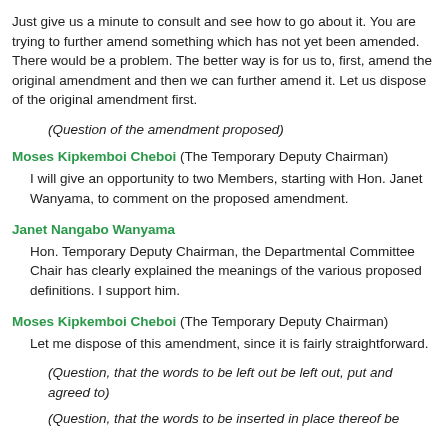Just give us a minute to consult and see how to go about it. You are trying to further amend something which has not yet been amended. There would be a problem. The better way is for us to, first, amend the original amendment and then we can further amend it. Let us dispose of the original amendment first.
(Question of the amendment proposed)
Moses Kipkemboi Cheboi (The Temporary Deputy Chairman) I will give an opportunity to two Members, starting with Hon. Janet Wanyama, to comment on the proposed amendment.
Janet Nangabo Wanyama
Hon. Temporary Deputy Chairman, the Departmental Committee Chair has clearly explained the meanings of the various proposed definitions. I support him.
Moses Kipkemboi Cheboi (The Temporary Deputy Chairman) Let me dispose of this amendment, since it is fairly straightforward.
(Question, that the words to be left out be left out, put and agreed to)
(Question, that the words to be inserted in place thereof be